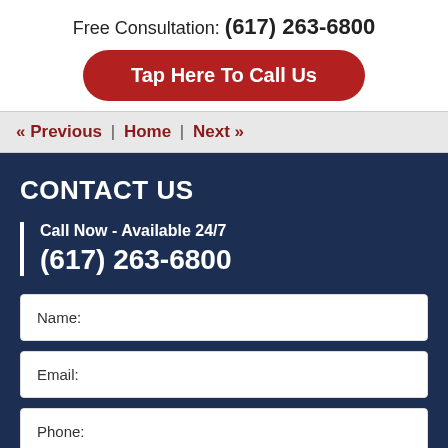Free Consultation: (617) 263-6800
Tap Here To Call Us
« Previous | Home | Next »
CONTACT US
Call Now - Available 24/7
(617) 263-6800
Name:
Email:
Phone:
Message: